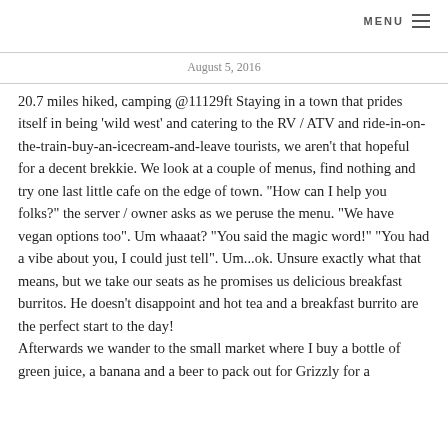MENU ≡
August 5, 2016
20.7 miles hiked, camping @11129ft
Staying in a town that prides itself in being 'wild west' and catering to the RV / ATV and ride-in-on-the-train-buy-an-icecream-and-leave tourists, we aren't that hopeful for a decent brekkie. We look at a couple of menus, find nothing and try one last little cafe on the edge of town. "How can I help you folks?" the server / owner asks as we peruse the menu. "We have vegan options too". Um whaaat? "You said the magic word!" "You had a vibe about you, I could just tell". Um...ok. Unsure exactly what that means, but we take our seats as he promises us delicious breakfast burritos. He doesn't disappoint and hot tea and a breakfast burrito are the perfect start to the day!
Afterwards we wander to the small market where I buy a bottle of green juice, a banana and a beer to pack out for Grizzly for a